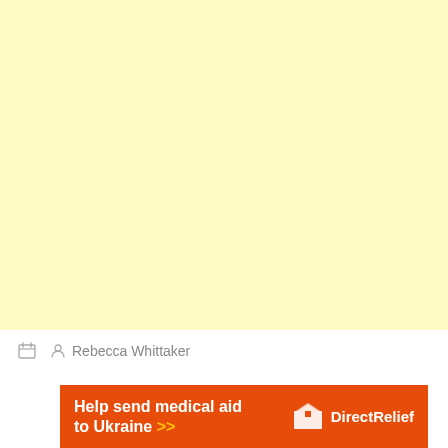[Figure (other): Large light yellow blank area filling the top portion of the page]
Rebecca Whittaker
[Figure (infographic): Orange advertisement banner: 'Help send medical aid to Ukraine >>' with Direct Relief logo on the right]